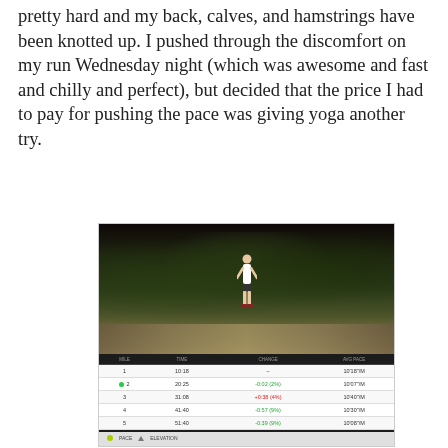pretty hard and my back, calves, and hamstrings have been knotted up. I pushed through the discomfort on my run Wednesday night (which was awesome and fast and chilly and perfect), but decided that the price I had to pay for pushing the pace was giving yoga another try.
[Figure (screenshot): A fitness tracking app screenshot showing: a photo of a runner standing on a path with dark foliage in the background (vintage/filtered look), a split table with columns MILE, TIME, CHANGE, AVG PACE showing 5 mile splits, and a pace/elevation chart at the bottom with stats showing Avg Pace 10'24", Duration 53:04]